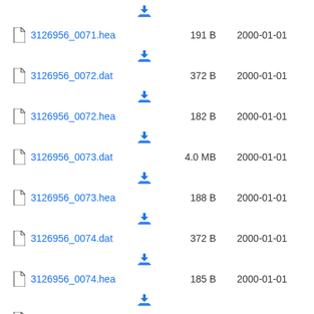3126956_0071.hea  191 B  2000-01-01
3126956_0072.dat  372 B  2000-01-01
3126956_0072.hea  182 B  2000-01-01
3126956_0073.dat  4.0 MB  2000-01-01
3126956_0073.hea  188 B  2000-01-01
3126956_0074.dat  372 B  2000-01-01
3126956_0074.hea  185 B  2000-01-01
3126956_0075.dat